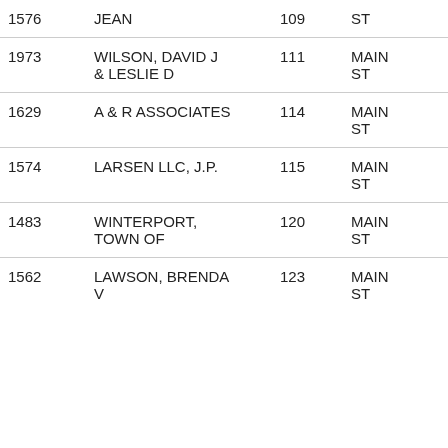| 1576 | JEAN | 109 | ST | View |
| 1973 | WILSON, DAVID J & LESLIE D | 111 | MAIN ST | View |
| 1629 | A & R ASSOCIATES | 114 | MAIN ST | View |
| 1574 | LARSEN LLC, J.P. | 115 | MAIN ST | View |
| 1483 | WINTERPORT, TOWN OF | 120 | MAIN ST | View |
| 1562 | LAWSON, BRENDA V | 123 | MAIN ST | View |